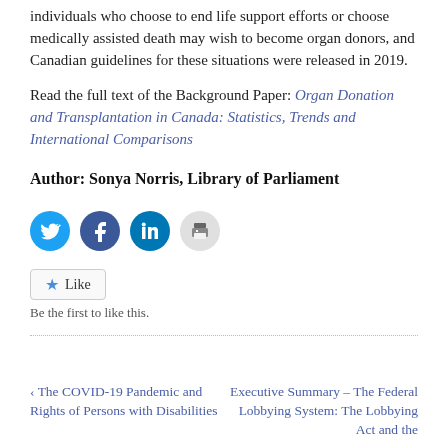individuals who choose to end life support efforts or choose medically assisted death may wish to become organ donors, and Canadian guidelines for these situations were released in 2019.
Read the full text of the Background Paper: Organ Donation and Transplantation in Canada: Statistics, Trends and International Comparisons
Author: Sonya Norris, Library of Parliament
[Figure (other): Social media sharing buttons: Twitter (blue bird icon), Facebook (blue f icon), LinkedIn (blue in icon), Print (grey printer icon)]
Like
Be the first to like this.
‹ The COVID-19 Pandemic and Rights of Persons with Disabilities
Executive Summary – The Federal Lobbying System: The Lobbying Act and the